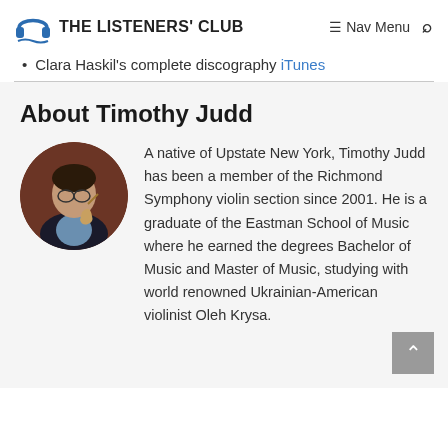THE LISTENERS' CLUB  Nav Menu
Clara Haskil's complete discography iTunes
About Timothy Judd
[Figure (photo): Circular portrait photo of Timothy Judd, a man in a dark jacket holding a violin, smiling, with a reddish-brown background.]
A native of Upstate New York, Timothy Judd has been a member of the Richmond Symphony violin section since 2001. He is a graduate of the Eastman School of Music where he earned the degrees Bachelor of Music and Master of Music, studying with world renowned Ukrainian-American violinist Oleh Krysa.